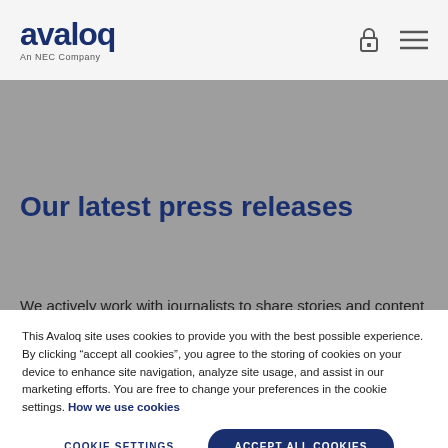[Figure (logo): Avaloq logo with text 'avaloq' in dark blue and subtitle 'An NEC Company']
[Figure (other): Navigation icons: padlock and hamburger menu]
Our latest press releases
We actively work with journalists to share stories and content
This Avaloq site uses cookies to provide you with the best possible experience. By clicking “accept all cookies”, you agree to the storing of cookies on your device to enhance site navigation, analyze site usage, and assist in our marketing efforts. You are free to change your preferences in the cookie settings. How we use cookies